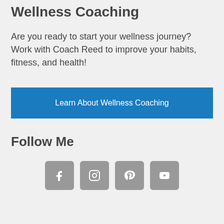Wellness Coaching
Are you ready to start your wellness journey? Work with Coach Reed to improve your habits, fitness, and health!
Learn About Wellness Coaching
Follow Me
[Figure (other): Four social media icon buttons: Facebook, Instagram, Pinterest, YouTube]